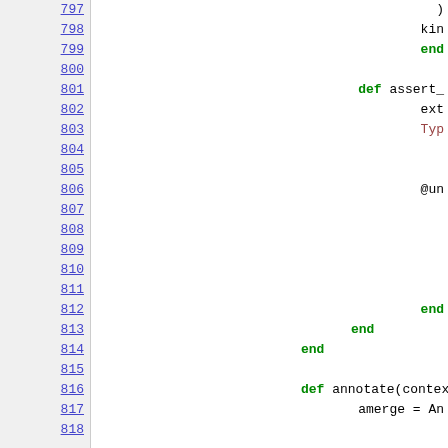[Figure (screenshot): Source code viewer showing lines 797-818 of a Ruby/programming file. Left column has blue underlined line numbers on a grey background. Right column shows code with green keywords (end, def), dark red type names, and black identifiers on white background.]